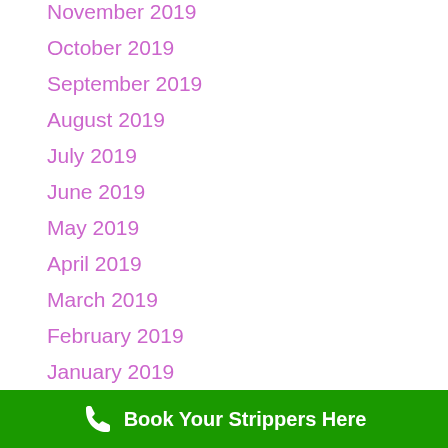November 2019
October 2019
September 2019
August 2019
July 2019
June 2019
May 2019
April 2019
March 2019
February 2019
January 2019
December 2018
November 2018
Book Your Strippers Here